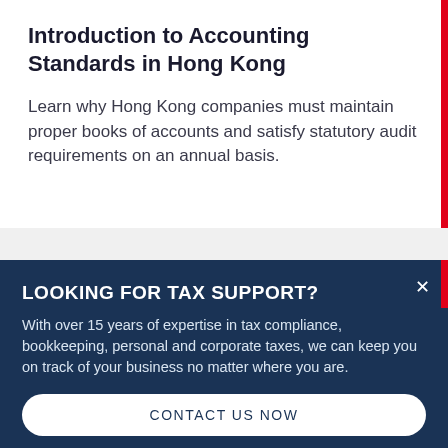Introduction to Accounting Standards in Hong Kong
Learn why Hong Kong companies must maintain proper books of accounts and satisfy statutory audit requirements on an annual basis.
LOOKING FOR TAX SUPPORT?
With over 15 years of expertise in tax compliance, bookkeeping, personal and corporate taxes, we can keep you on track of your business no matter where you are.
CONTACT US NOW